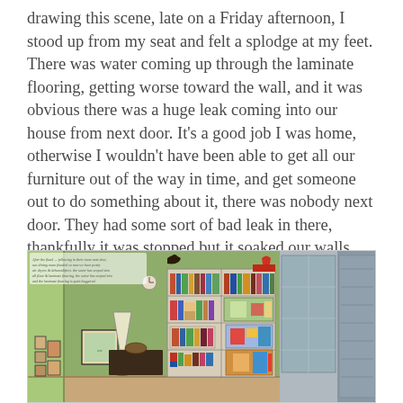drawing this scene, late on a Friday afternoon, I stood up from my seat and felt a splodge at my feet. There was water coming up through the laminate flooring, getting worse toward the wall, and it was obvious there was a huge leak coming into our house from next door. It's a good job I was home, otherwise I wouldn't have been able to get all our furniture out of the way in time, and get someone out to do something about it, there was nobody next door. They had some sort of bad leak in there, thankfully it was stopped but it soaked our walls and floor. So, they brought in big noisy air dryers and dehumidifiers to try and dry the place out. I moved that desk, and put the bookshelves in a different spot. We stopped the water getting any further.
[Figure (illustration): A watercolor illustration of a living room interior showing bookshelves filled with books, a lamp, framed artwork on green walls, and what appears to be a cross-section view showing an adjacent space. Small handwritten text visible in the upper left of the illustration.]